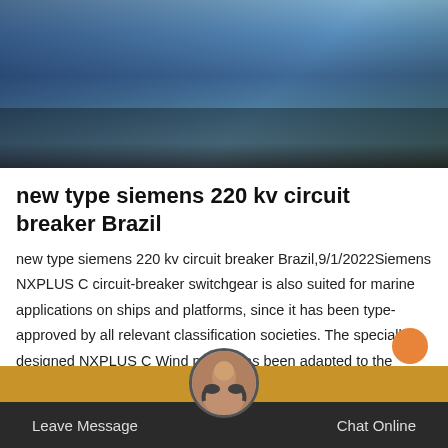[Figure (photo): Photograph of workers in blue uniforms outdoors, partially cropped at top of page]
new type siemens 220 kv circuit breaker Brazil
new type siemens 220 kv circuit breaker Brazil,9/1/2022Siemens NXPLUS C circuit-breaker switchgear is also suited for marine applications on ships and platforms, since it has been type-approved by all relevant classification societies. The specially designed NXPLUS C Wind model has been adapted to the requirements of onshore and offshore wind turbines. Video Player is loading. This is a modal window.
Leave Message   Chat Online